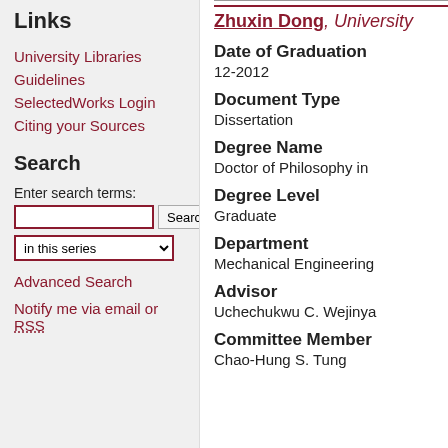Links
University Libraries
Guidelines
SelectedWorks Login
Citing your Sources
Search
Enter search terms:
in this series
Advanced Search
Notify me via email or RSS
Zhuxin Dong, University
Date of Graduation
12-2012
Document Type
Dissertation
Degree Name
Doctor of Philosophy in
Degree Level
Graduate
Department
Mechanical Engineering
Advisor
Uchechukwu C. Wejiny
Committee Member
Chao-Hung S. Tung